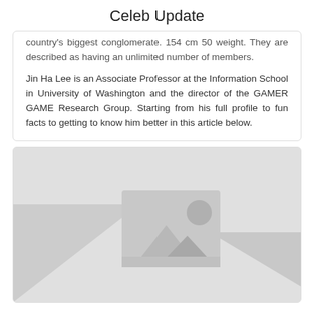Celeb Update
country's biggest conglomerate. 154 cm 50 weight. They are described as having an unlimited number of members.
Jin Ha Lee is an Associate Professor at the Information School in University of Washington and the director of the GAMER GAME Research Group. Starting from his full profile to fun facts to getting to know him better in this article below.
[Figure (photo): Placeholder image with mountains and sun icon on grey background]